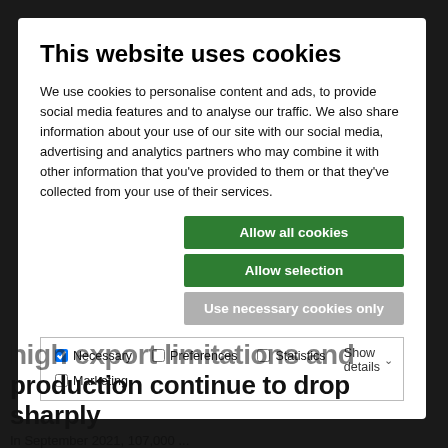This website uses cookies
We use cookies to personalise content and ads, to provide social media features and to analyse our traffic. We also share information about your use of our site with our social media, advertising and analytics partners who may combine it with other information that you've provided to them or that they've collected from your use of their services.
Allow all cookies
Allow selection
Use necessary cookies only
Necessary  Preferences  Statistics  Marketing  Show details
production continue to drop sharply